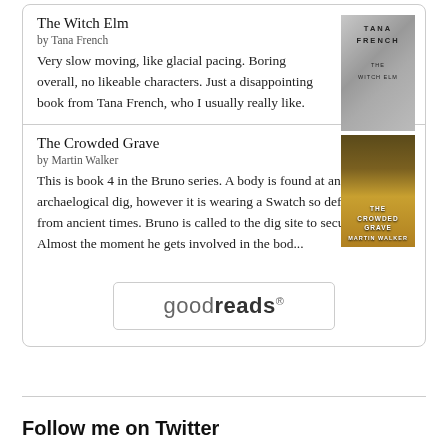The Witch Elm
by Tana French
Very slow moving, like glacial pacing. Boring overall, no likeable characters. Just a disappointing book from Tana French, who I usually really like.
[Figure (illustration): Book cover of The Witch Elm by Tana French]
The Crowded Grave
by Martin Walker
This is book 4 in the Bruno series. A body is found at an archaelogical dig, however it is wearing a Swatch so definitely not from ancient times. Bruno is called to the dig site to secure it. Almost the moment he gets involved in the bod...
[Figure (illustration): Book cover of The Crowded Grave by Martin Walker]
[Figure (logo): Goodreads logo button]
Follow me on Twitter